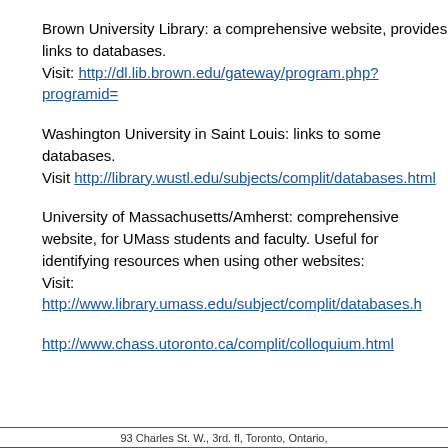Brown University Library: a comprehensive website, provides links to databases.
Visit: http://dl.lib.brown.edu/gateway/program.php?programid=
Washington University in Saint Louis: links to some databases.
Visit http://library.wustl.edu/subjects/complit/databases.html
University of Massachusetts/Amherst: comprehensive website, for UMass students and faculty. Useful for identifying resources when using other websites:
Visit: http://www.library.umass.edu/subject/complit/databases.h
http://www.chass.utoronto.ca/complit/colloquium.html
93 Charles St. W., 3rd. fl, Toronto, Ontario,